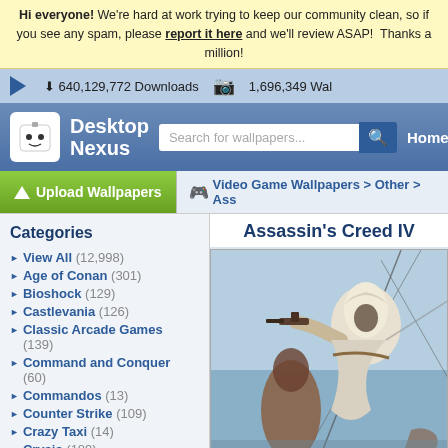Hi everyone! We're hard at work trying to keep our community clean, so if you see any spam, please report it here and we'll review ASAP! Thanks a million!
640,129,772 Downloads  1,696,349 Wallpapers
[Figure (logo): Desktop Nexus logo with robot mascot icon and search bar]
Upload Wallpapers | Video Game Wallpapers > Other > Ass...
Categories
View All (12,998)
Age of Conan (301)
Bioshock (129)
Castlevania (126)
Classic Arcade Games (139)
Command and Conquer (60)
Commandos (13)
Counter Strike (109)
Crazy Taxi (14)
Crysis (189)
Deus Ex (62)
Doom (37)
Everquest (55)
Assassin's Creed IV
[Figure (photo): Assassin's Creed IV game wallpaper showing a hooded assassin holding a pistol against a ship mast background]